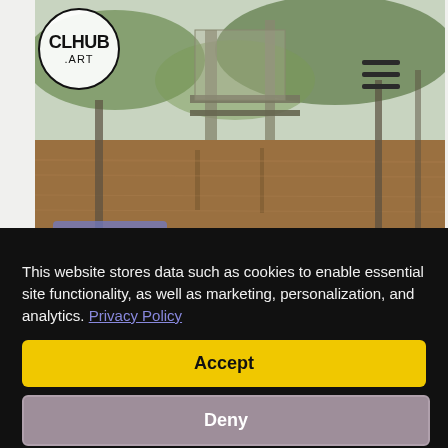[Figure (photo): A webpage screenshot showing a logo circle with CLHUB .ART text, a hamburger menu icon, and a hero photo of a flooded area with brown water and wooden structures. A purple-tinted label reads 'Gente Rio 1'. Below is a partial strip of a second image.]
Gente Rio 1
This website stores data such as cookies to enable essential site functionality, as well as marketing, personalization, and analytics. Privacy Policy
Accept
Deny